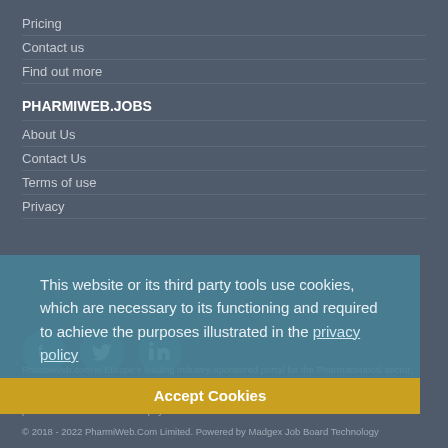Pricing
Contact us
Find out more
PHARMIWEB.JOBS
About Us
Contact Us
Terms of use
Privacy
This website or its third party tools use cookies, which are necessary to its functioning and required to achieve the purposes illustrated in the privacy policy
Accept Cookies
PharmiWeb.com is Europe's leading industry-sponsored portal for the Pharmaceutical sector, providing the latest jobs, news, features and events listings. The information provided on PharmiWeb.com is designed to support, not replace, the relationship that exists between a patient/site visitor and his/her physician.
© 2018 - 2022 PharmiWeb.Com Limited. Powered by Madgex Job Board Technology